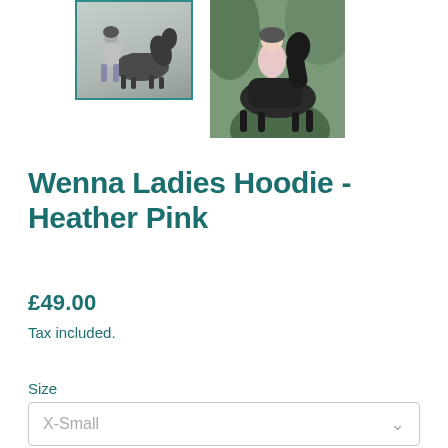[Figure (photo): Selected thumbnail showing a person leading a dark horse, with a teal border indicating selection]
[Figure (photo): Main product photo showing a woman wearing a pink hoodie while riding a dark horse outdoors]
Wenna Ladies Hoodie - Heather Pink
£49.00
Tax included.
Size
X-Small